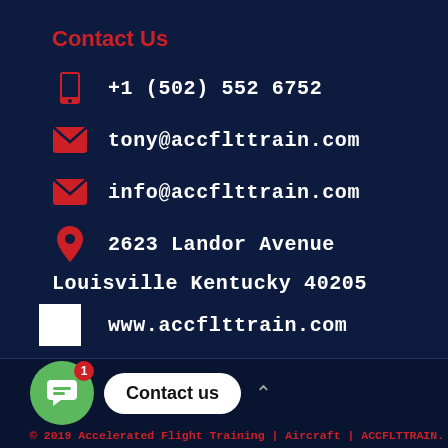Contact Us
+1 (502) 552 6752
tony@accflttrain.com
info@accflttrain.com
2623 Landor Avenue
Louisville Kentucky 40205
www.accflttrain.com
[Figure (screenshot): Chat widget showing a green chat bubble button with red badge showing '1', a 'Contact us' pill button, and an up-arrow chevron]
© 2019 Accelerated Flight Training | Aircraft | ACCFLTTRAIN.